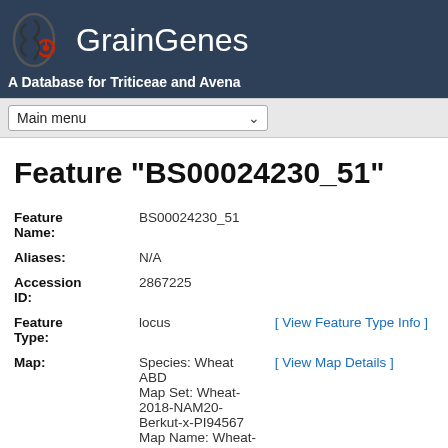GrainGenes — A Database for Triticeae and Avena
Feature "BS00024230_51"
| Field | Value | Link |
| --- | --- | --- |
| Feature Name: | BS00024230_51 |  |
| Aliases: | N/A |  |
| Accession ID: | 2867225 |  |
| Feature Type: | locus | [ View Feature Type Info ] |
| Map: | Species: Wheat ABD
Map Set: Wheat-2018-NAM20-Berkut-x-PI94567
Map Name: Wheat-2018-NAM20-BxPI94567_5A | [ View Map Details ] |